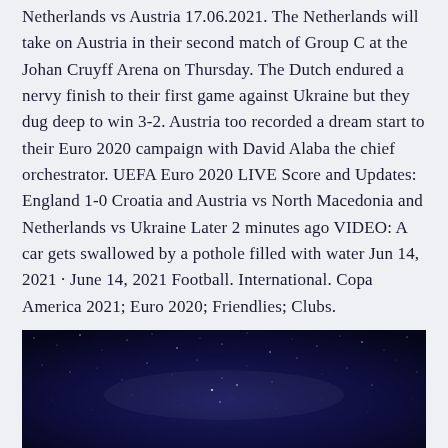Netherlands vs Austria 17.06.2021. The Netherlands will take on Austria in their second match of Group C at the Johan Cruyff Arena on Thursday. The Dutch endured a nervy finish to their first game against Ukraine but they dug deep to win 3-2. Austria too recorded a dream start to their Euro 2020 campaign with David Alaba the chief orchestrator. UEFA Euro 2020 LIVE Score and Updates: England 1-0 Croatia and Austria vs North Macedonia and Netherlands vs Ukraine Later 2 minutes ago VIDEO: A car gets swallowed by a pothole filled with water Jun 14, 2021 · June 14, 2021 Football. International. Copa America 2021; Euro 2020; Friendlies; Clubs.
[Figure (photo): Night sky photograph showing a dark blue/purple sky with stars and possibly the Milky Way or a faint celestial feature visible]